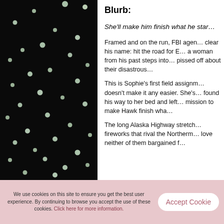[Figure (photo): Dark night sky photograph with scattered glowing white bokeh lights (fireflies or stars) against a black background, occupying the left column of the page.]
Blurb:
She'll make him finish what he star…
Framed and on the run, FBI agen… clear his name: hit the road for E… a woman from his past steps into… pissed off about their disastrous…
This is Sophie's first field assignm… doesn't make it any easier. She's… found his way to her bed and left… mission to make Hawk finish wha…
The long Alaska Highway stretch… fireworks that rival the Northerm… love neither of them bargained f…
We use cookies on this site to ensure you get the best user experience. By continuing to browse you accept the use of these cookies. Click here for more information.